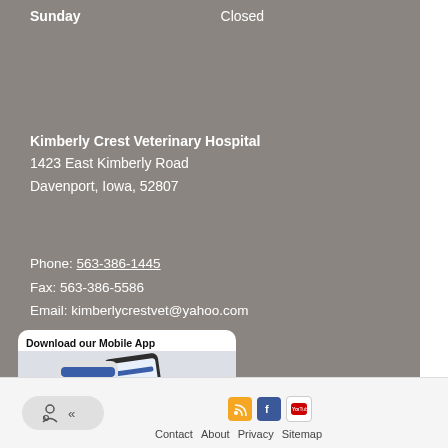Sunday    Closed
Kimberly Crest Veterinary Hospital
1423 East Kimberly Road
Davenport, Iowa, 52807
Phone: 563-386-1445
Fax: 563-386-5586
Email: kimberlycrestvet@yahoo.com
[Figure (screenshot): Download our Mobile App promotional card showing a smartphone with a veterinary app interface]
Contact  About  Privacy  Sitemap